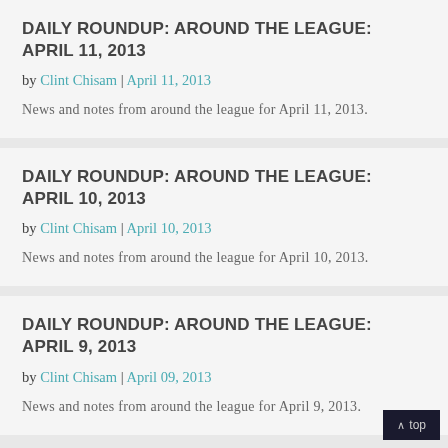DAILY ROUNDUP: AROUND THE LEAGUE: APRIL 11, 2013
by Clint Chisam | April 11, 2013
News and notes from around the league for April 11, 2013.
DAILY ROUNDUP: AROUND THE LEAGUE: APRIL 10, 2013
by Clint Chisam | April 10, 2013
News and notes from around the league for April 10, 2013.
DAILY ROUNDUP: AROUND THE LEAGUE: APRIL 9, 2013
by Clint Chisam | April 09, 2013
News and notes from around the league for April 9, 2013.